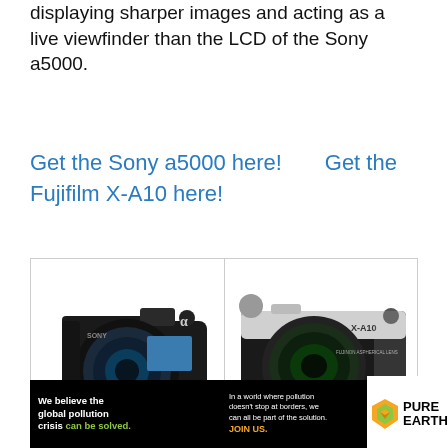displaying sharper images and acting as a live viewfinder than the LCD of the Sony a5000.
Get the Sony a5000 here!    Get the Fujifilm X-A10 here!
[Figure (photo): Sony a5000 mirrorless camera with wide-angle lens, shown from front-left angle on white background]
[Figure (photo): Fujifilm X-A10 mirrorless camera with kit lens, shown from front angle on white background, silver and black body]
[Figure (infographic): Pure Earth advertisement banner: black background with text 'We believe the global pollution crisis can be solved.' and 'In a world where pollution doesn't stop at borders, we can all be part of the solution. JOIN US.' with Pure Earth diamond logo on white section]